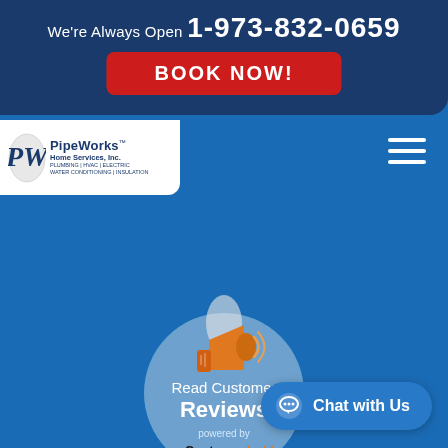We're Always Open 1-973-832-0659
BOOK NOW!
[Figure (logo): PipeWorks Home Services, Inc. logo with PW emblem. Tagline: PLUMBING | HVAC | ELECTRIC WATER CONDITIONING | INSULATION]
[Figure (other): Hamburger menu icon (three horizontal lines)]
[Figure (illustration): Round badge with megaphone/bullhorn icon reading 'Read Customer Reviews powered by Customer Lobby']
Chat with Us